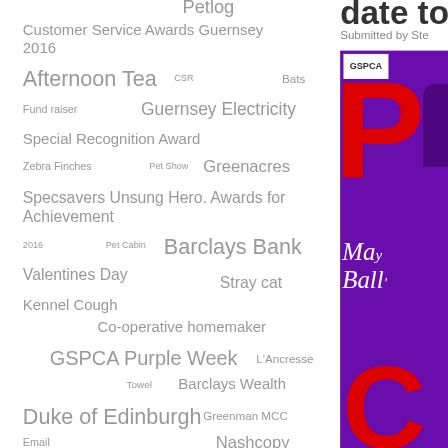[Figure (other): Tag cloud / word cloud with terms related to GSPCA (Guernsey Society for Prevention of Cruelty to Animals) including: Petlog, Customer Service Awards Guernsey 2016, Afternoon Tea, CSR, Bats, Fund raiser, Guernsey Electricity, Special Recognition Award, Zebra Finches, Pet Show, Greenacres, Specsavers Unsung Hero. Awards for Achievement, 2016, Pet Cabin, Barclays Bank, Valentines Day, Stray cat, Kennel Cough, Co-operative homemaker, GSPCA Purple Week, L'Ancresse, Towel, Barclays Wealth, Duke of Edinburgh, Greenman MCC, Email, Nashcopy]
[Figure (photo): Purple background promotional image for GSPCA Masquerade Ball with red letters and GSPCA logo, white cursive text reading 'Masquerade Ball']
Submitted by Ste
date to f